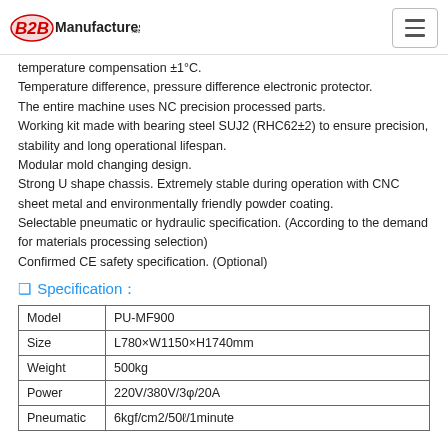B2BManufactures.com
temperature compensation ±1°C.
Temperature difference, pressure difference electronic protector.
The entire machine uses NC precision processed parts.
Working kit made with bearing steel SUJ2 (RHC62±2) to ensure precision, stability and long operational lifespan.
Modular mold changing design.
Strong U shape chassis. Extremely stable during operation with CNC sheet metal and environmentally friendly powder coating.
Selectable pneumatic or hydraulic specification. (According to the demand for materials processing selection)
Confirmed CE safety specification. (Optional)
❑ Specification：
| Model | PU-MF900 |
| --- | --- |
| Size | L780×W1150×H1740mm |
| Weight | 500kg |
| Power | 220V/380V/3φ/20A |
| Pneumatic | 6kgf/cm2/50ℓ/1minute |